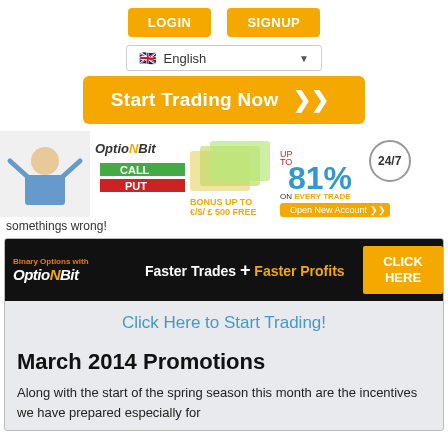LOGIN  SIGNUP
English (language selector)
Start Trading Now
[Figure (infographic): OptionBit advertisement banner showing a woman celebrating, CALL/PUT buttons, bonus up to €/$/£500 free, up to 81% on every trade, 24/7, Open New Account button]
somethings wrong!
[Figure (infographic): OptionBit dark banner: Binary Options with OptionBit — Faster Trades + Faster Profits — CLICK HERE]
Click Here to Start Trading!
March 2014 Promotions
Along with the start of the spring season this month are the incentives we have prepared especially for